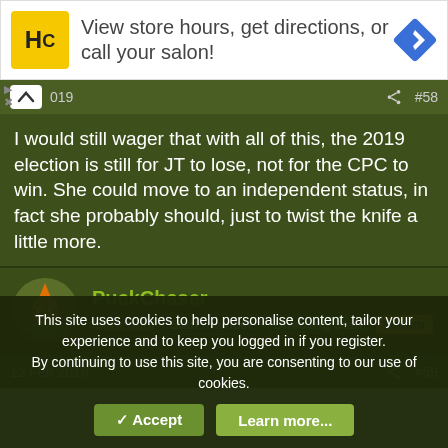[Figure (other): Advertisement banner: HC logo (yellow square with black HC letters), text 'View store hours, get directions, or call your salon!', blue diamond navigation icon on right]
I would still wager that with all of this, the 2019 election is still for JT to lose, not for the CPC to win. She could move to an independent status, in fact she probably should, just to twist the knife a little more.
PuckChaser
Moderator  Staff member  Directing Staff  Mentor
12 Feb 2019  #59
This site uses cookies to help personalise content, tailor your experience and to keep you logged in if you register.
By continuing to use this site, you are consenting to our use of cookies.